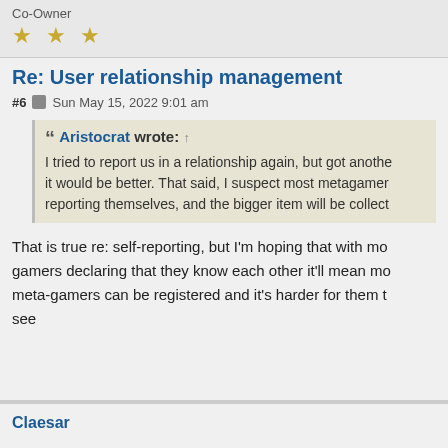Co-Owner
★ ★ ★
Re: User relationship management
#6  Sun May 15, 2022 9:01 am
Aristocrat wrote: ↑
I tried to report us in a relationship again, but got another error. I think it would be better. That said, I suspect most metagamers won't be self-reporting themselves, and the bigger item will be collect
That is true re: self-reporting, but I'm hoping that with mo... gamers declaring that they know each other it'll mean mo... meta-gamers can be registered and it's harder for them t... see
Claesar